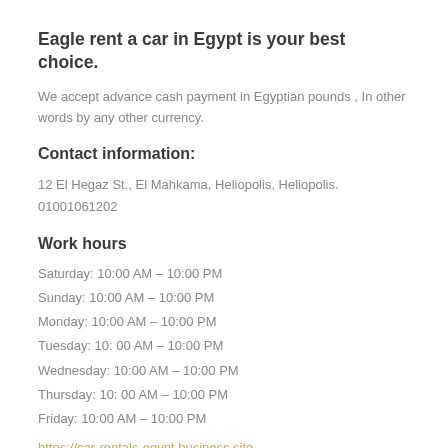Eagle rent a car in Egypt is your best choice.
We accept advance cash payment in Egyptian pounds , In other words by any other currency.
Contact information:
12 El Hegaz St., El Mahkama, Heliopolis, Heliopolis.
01001061202
Work hours
Saturday: 10:00 AM – 10:00 PM
Sunday: 10:00 AM – 10:00 PM
Monday: 10:00 AM – 10:00 PM
Tuesday: 10: 00 AM – 10:00 PM
Wednesday: 10:00 AM – 10:00 PM
Thursday: 10: 00 AM – 10:00 PM
Friday: 10:00 AM – 10:00 PM
https://car-rentals-egypt.business.site